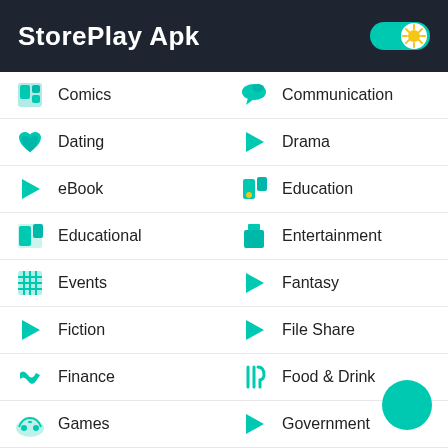StorePlay Apk
Comics
Communication
Dating
Drama
eBook
Education
Educational
Entertainment
Events
Fantasy
Fiction
File Share
Finance
Food & Drink
Games
Government
Health & Fitness
History
Horror
House & Home